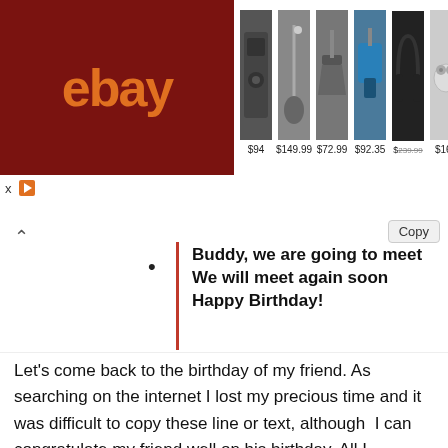[Figure (screenshot): eBay advertisement banner showing logo and products: a speaker ($94), vacuum ($149.99), saw ($72.99), drill set ($92.35), headphones ($239.99), earbuds ($169)]
Buddy, we are going to meet We will meet again soon Happy Birthday!
Let's come back to the birthday of my friend. As searching on the internet I lost my precious time and it was difficult to copy these line or text, although I can congratulate my friend well on his birthday. All I intended, was to create a beautiful website. In this way, the website of Congratulations on the birthday came into existence. Because I am a Blogger I am very pleased to write the authorship, in this regard, I made this website so that I